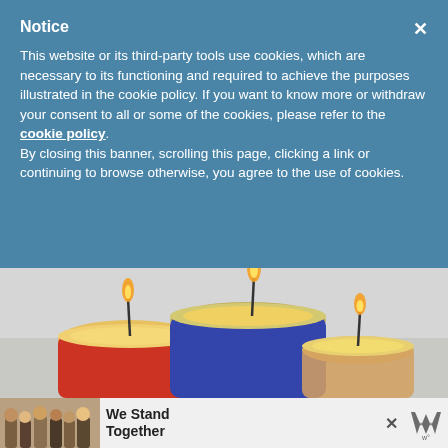Notice
This website or its third-party tools use cookies, which are necessary to its functioning and required to achieve the purposes illustrated in the cookie policy. If you want to know more or withdraw your consent to all or some of the cookies, please refer to the cookie policy. By closing this banner, scrolling this page, clicking a link or continuing to browse otherwise, you agree to the use of cookies.
[Figure (photo): Three scented candles in colorful glass jars (red, blue, clear) with flames, on a light gray surface]
[Figure (infographic): Advertisement banner showing people standing together with text 'We Stand Together' and a logo]